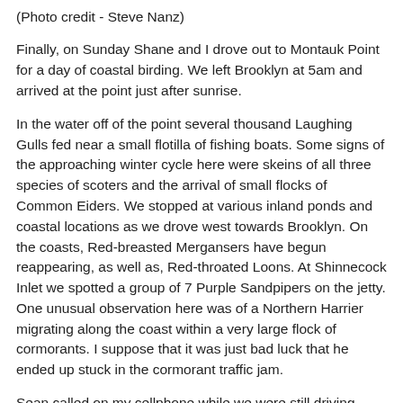(Photo credit - Steve Nanz)
Finally, on Sunday Shane and I drove out to Montauk Point for a day of coastal birding. We left Brooklyn at 5am and arrived at the point just after sunrise.
In the water off of the point several thousand Laughing Gulls fed near a small flotilla of fishing boats. Some signs of the approaching winter cycle here were skeins of all three species of scoters and the arrival of small flocks of Common Eiders. We stopped at various inland ponds and coastal locations as we drove west towards Brooklyn. On the coasts, Red-breasted Mergansers have begun reappearing, as well as, Red-throated Loons. At Shinnecock Inlet we spotted a group of 7 Purple Sandpipers on the jetty. One unusual observation here was of a Northern Harrier migrating along the coast within a very large flock of cormorants. I suppose that it was just bad luck that he ended up stuck in the cormorant traffic jam.
Sean called on my cellphone while we were still driving back to Brooklyn. He wanted to find out if we located anything...